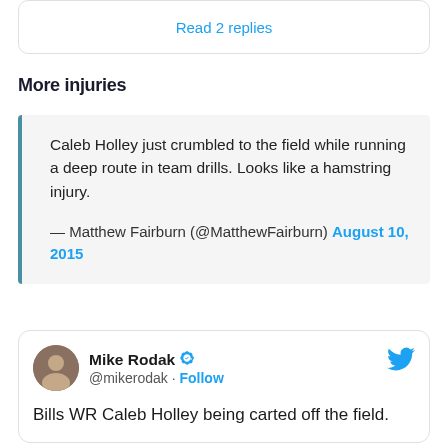Read 2 replies
More injuries
Caleb Holley just crumbled to the field while running a deep route in team drills. Looks like a hamstring injury.

— Matthew Fairburn (@MatthewFairburn) August 10, 2015
[Figure (screenshot): Twitter/X embed card showing Mike Rodak (@mikerodak) tweet: 'Bills WR Caleb Holley being carted off the field.' with verified badge and Follow button]
Bills WR Caleb Holley being carted off the field.